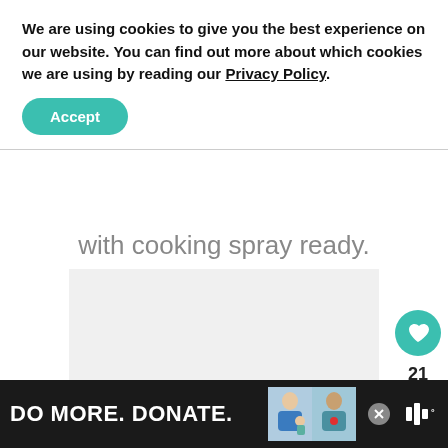We are using cookies to give you the best experience on our website. You can find out more about which cookies we are using by reading our Privacy Policy.
Accept
with cooking spray ready.
[Figure (photo): Light gray rectangular image placeholder area]
21
[Figure (infographic): Advertisement banner: DO MORE. DONATE. with two illustrated figures and a logo on dark background]